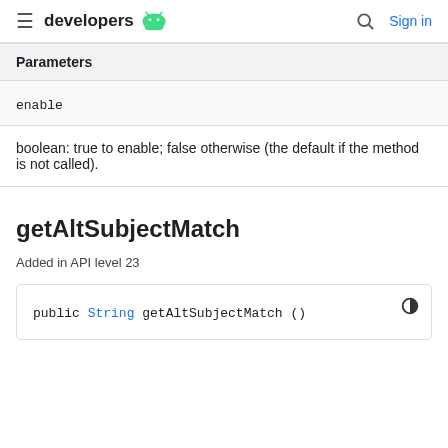developers  Sign in
| Parameters |
| --- |
| enable |
| boolean: true to enable; false otherwise (the default if the method is not called). |
getAltSubjectMatch
Added in API level 23
public String getAltSubjectMatch ()